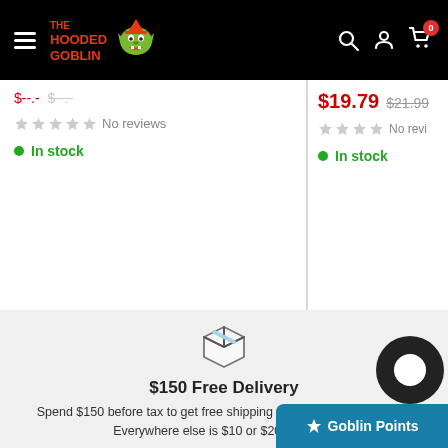[Figure (logo): The Hooded Goblin store logo with goblin mascot on black header bar with hamburger menu, search, account and cart icons]
$19.79  $21.99
No reviews
In stock
Add to cart
No revi...
In stock
Add to...
[Figure (illustration): Package/box delivery icon]
$150 Free Delivery
Spend $150 before tax to get free shipping to ON, QC, MB, and AB. Everywhere else is $10 or $20 flat when...